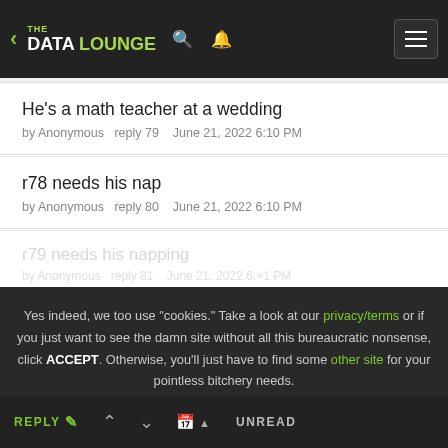The Data Lounge
He's a math teacher at a wedding
by Anonymous  reply 79  June 21, 2022 6:10 PM
r78 needs his nap
by Anonymous  reply 80  June 21, 2022 6:10 PM
Yes indeed, we too use "cookies." Take a look at our privacy/terms or if you just want to see the damn site without all this bureaucratic nonsense, click ACCEPT. Otherwise, you'll just have to find some other site for your pointless bitchery needs.
REPLY  UNREAD